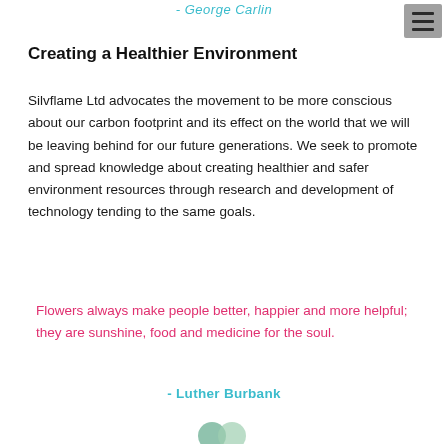- George Carlin
Creating a Healthier Environment
Silvflame Ltd advocates the movement to be more conscious about our carbon footprint and its effect on the world that we will be leaving behind for our future generations. We seek to promote and spread knowledge about creating healthier and safer environment resources through research and development of technology tending to the same goals.
Flowers always make people better, happier and more helpful; they are sunshine, food and medicine for the soul.
- Luther Burbank